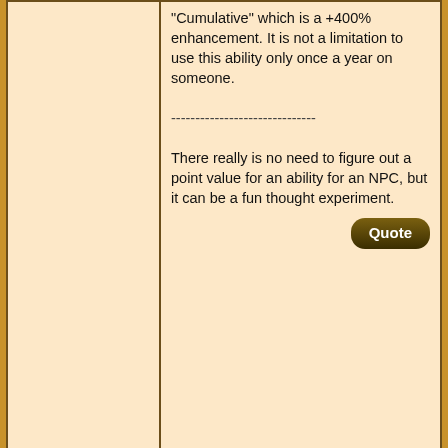'Cumulative' which is a +400% enhancement. It is not a limitation to use this ability only once a year on someone.

------------------------------

There really is no need to figure out a point value for an ability for an NPC, but it can be a fun thought experiment.
05-10-2021, 08:53 PM  #5
Coinage
Join Date: Jan 2018
Re: Bestowing Personality-based Powers
Sorry, it doesn't work more than once on the same person (unless that person somehow loses their powres). Rather, it can only be used roughly once per year to empower a non-empowered person. If a person is already empowered, then they cannot be "re-empowered"